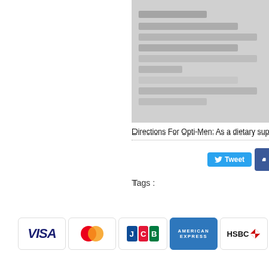[Figure (screenshot): Blurred/pixelated product information table or nutrition label in the upper right portion of the page]
Directions For Opti-Men: As a dietary supple...
[Figure (screenshot): Social sharing buttons: Tweet (Twitter), Like 0 (Facebook), and Share button]
Tags :
[Figure (infographic): Payment method logos: VISA, MasterCard, JCB, American Express, HSBC, and a green leaf logo]
Home I About Us I Promotions I Products I Whole Sale I ...
xxxxxxxxxxxxxxxx Whey
[Figure (screenshot): Blue honeycomb pattern footer background with Thai text and Whey product reference]